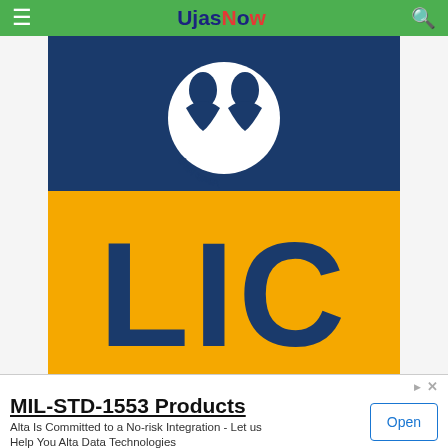UjasNow
[Figure (logo): LIC (Life Insurance Corporation of India) logo. Top half is dark blue with a white circular emblem showing two figures and Sanskrit text. Bottom half is yellow/gold with 'LIC' in large dark blue bold letters.]
AAO Recruitment Notification 2017-18
MIL-STD-1553 Products
Alta Is Committed to a No-risk Integration - Let us Help You Alta Data Technologies
Open